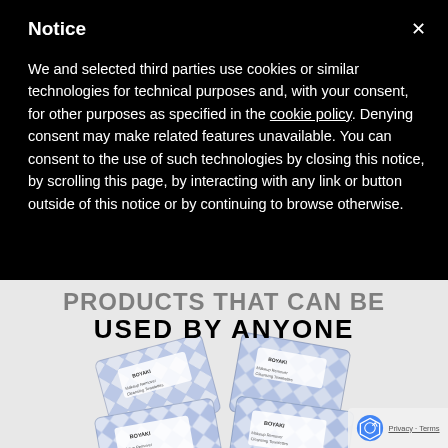Notice
We and selected third parties use cookies or similar technologies for technical purposes and, with your consent, for other purposes as specified in the cookie policy. Denying consent may make related features unavailable. You can consent to the use of such technologies by closing this notice, by scrolling this page, by interacting with any link or button outside of this notice or by continuing to browse otherwise.
PRODUCTS THAT CAN BE USED BY ANYONE
[Figure (photo): Stack of product packages with blue geometric chevron pattern design - makeup remover cleansing towelettes]
Privacy · Terms